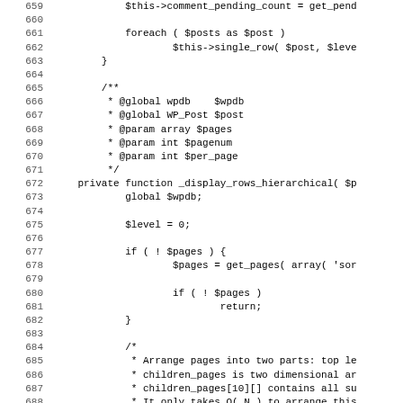Source code listing, lines 659-690, showing PHP methods including _display_rows_hierarchical with comments and code logic.